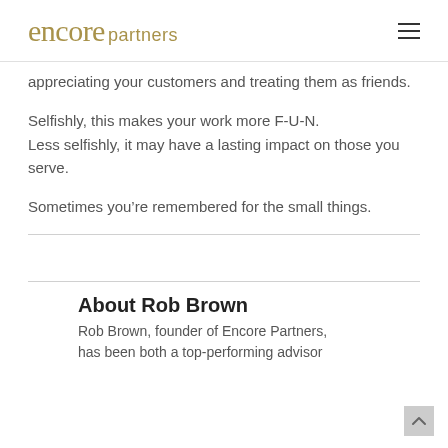encore partners
appreciating your customers and treating them as friends.
Selfishly, this makes your work more F-U-N. Less selfishly, it may have a lasting impact on those you serve.
Sometimes you’re remembered for the small things.
About Rob Brown
Rob Brown, founder of Encore Partners, has been both a top-performing advisor